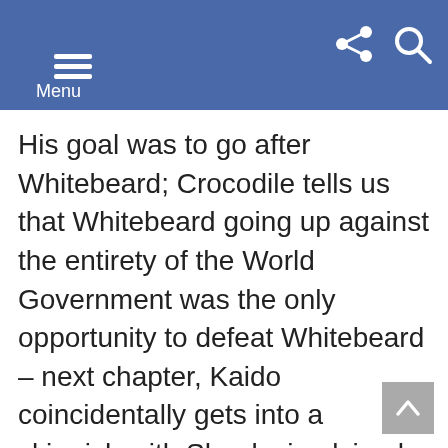Menu
His goal was to go after Whitebeard; Crocodile tells us that Whitebeard going up against the entirety of the World Government was the only opportunity to defeat Whitebeard – next chapter, Kaido coincidentally gets into a skirmish with Shanks implying he was attempting to take this opportunity too.